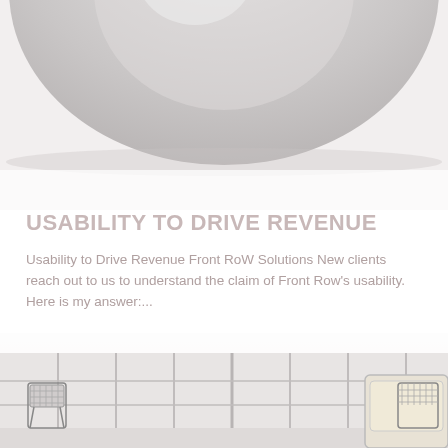[Figure (photo): Close-up of a metallic/silver disc or bowl-shaped object, partially cropped at top of page]
USABILITY TO DRIVE REVENUE
Usability to Drive Revenue Front RoW Solutions New clients reach out to us to understand the claim of Front Row's usability. Here is my answer:...
Read more
[Figure (photo): Interior scene with wire chairs and large windows with grid frames, partially cropped at bottom of page]